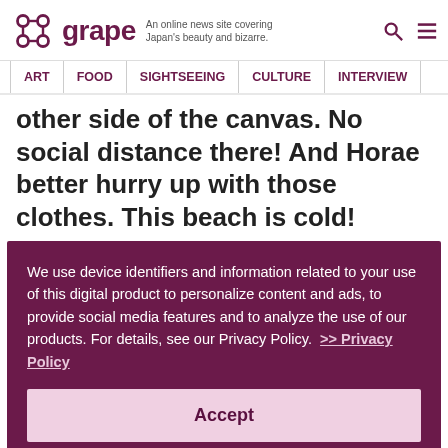grape — An online news site covering Japan's beauty and bizarre.
ART | FOOD | SIGHTSEEING | CULTURE | INTERVIEW
other side of the canvas. No social distance there! And Horae better hurry up with those clothes. This beach is cold!
We use device identifiers and information related to your use of this digital product to personalize content and ads, to provide social media features and to analyze the use of our products. For details, see our Privacy Policy. >> Privacy Policy
Accept